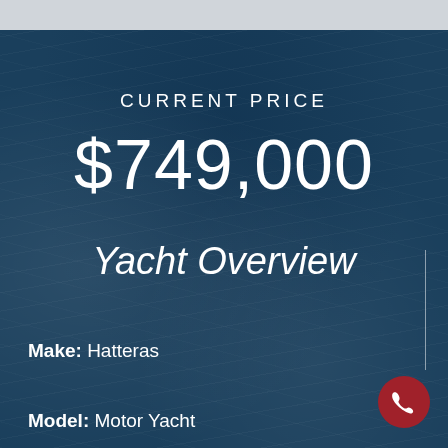CURRENT PRICE
$749,000
Yacht Overview
Make: Hatteras
Model: Motor Yacht